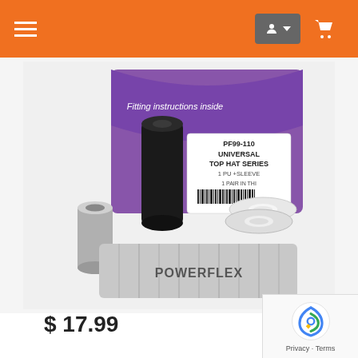Navigation header with hamburger menu, account button, and cart icon on orange background
[Figure (photo): Product photo showing Powerflex PF99-110 Universal Top Hat Series bushing kit. Includes a black rubber cylindrical bushing, a silver metal sleeve, white polyurethane top hat washers, a purple box labeled 'Fitting instructions inside', a product label reading 'PF99-110 UNIVERSAL TOP HAT SERIES 1 PU +SLEEVE 1 PAIR IN THIS', and a silver Powerflex branded grease packet.]
$ 17.99